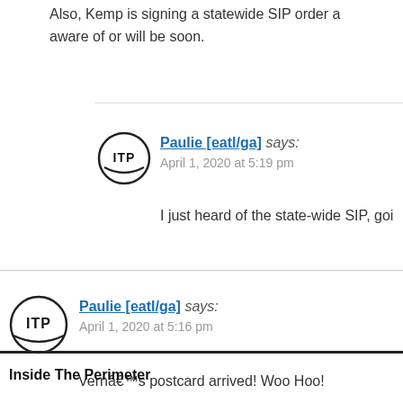Also, Kemp is signing a statewide SIP order as... aware of or will be soon.
Paulie [eatl/ga] says:
April 1, 2020 at 5:19 pm

I just heard of the state-wide SIP, goi...
Paulie [eatl/ga] says:
April 1, 2020 at 5:16 pm

Vernâ€™s postcard arrived! Woo Hoo!
Inside The Perimeter